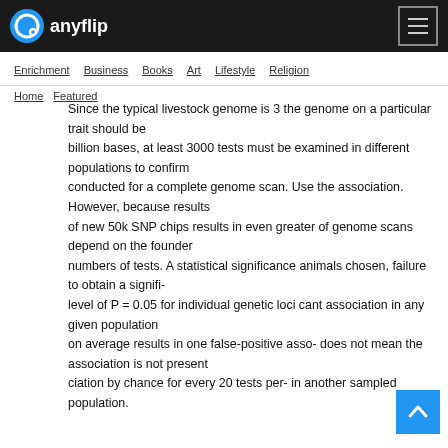anyflip
Enrichment  Business  Books  Art  Lifestyle  Religion
Home  Featured
Since the typical livestock genome is 3 the genome on a particular trait should be billion bases, at least 3000 tests must be examined in different populations to confirm conducted for a complete genome scan. Use the association. However, because results of new 50k SNP chips results in even greater of genome scans depend on the founder numbers of tests. A statistical significance animals chosen, failure to obtain a signifi- level of P = 0.05 for individual genetic loci cant association in any given population on average results in one false-positive asso- does not mean the association is not present ciation by chance for every 20 tests per- in another sampled population.